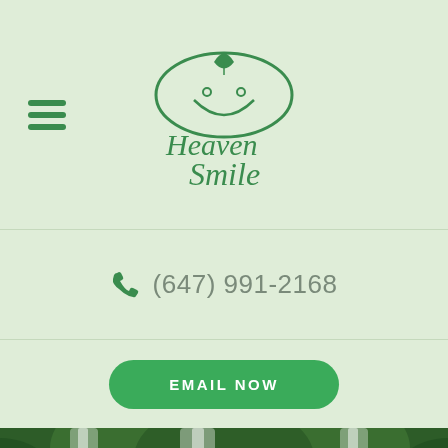[Figure (logo): Heaven Smile brand logo with leaf and cloud motif in green cursive script]
(647) 991-2168
EMAIL NOW
[Figure (photo): Person with arms raised standing in front of large tropical waterfalls surrounded by lush green vegetation]